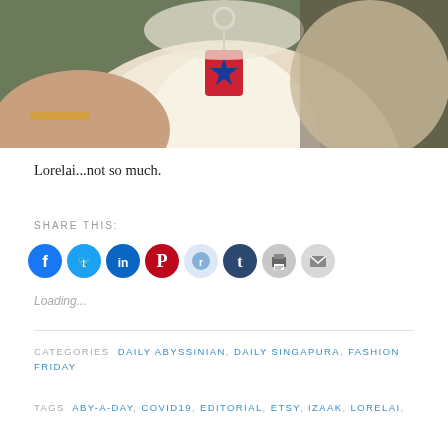[Figure (photo): Close-up photo of a cat with a red star dog tag collar being held by a person with a gold bracelet]
Lorelai...not so much.
SHARE THIS:
[Figure (infographic): Row of social share buttons: Facebook (blue), Twitter (light blue), LinkedIn (dark blue), Pinterest (red), Reddit (light blue/grey), Tumblr (dark navy), Print (grey), Email (grey)]
Loading...
CATEGORIES  DAILY ABYSSINIAN,  DAILY SINGAPURA,  FASHION FRIDAY
TAGS  ABY-A-DAY,  COVID19,  EDITORIAL,  ETSY,  IZAAK,  LORELAI,